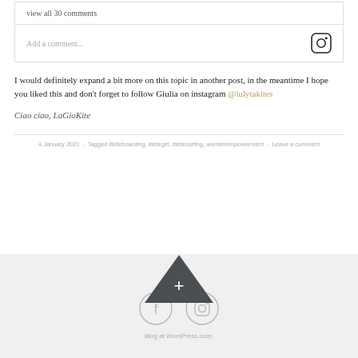view all 30 comments
Add a comment...
I would definitely expand a bit more on this topic in another post, in the meantime I hope you liked this and don't forget to follow Giulia on instagram @lulytakites
Ciao ciao, LaGioKite
4 January 2021 · Tagged #kiteboarding, #kitegirl, #kitesurfing, womenempowerment · Leave a comment
[Figure (logo): Dark grey upward triangle with a plus sign, serving as a navigation or expand button]
[Figure (logo): Facebook and Instagram circle icon buttons in light grey]
Blog at WordPress.com.